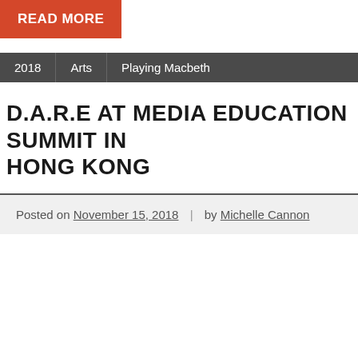READ MORE
2018 | Arts | Playing Macbeth
D.A.R.E AT MEDIA EDUCATION SUMMIT IN HONG KONG
Posted on November 15, 2018 | by Michelle Cannon
Andrew Burn, John Potter and Michelle Cannon